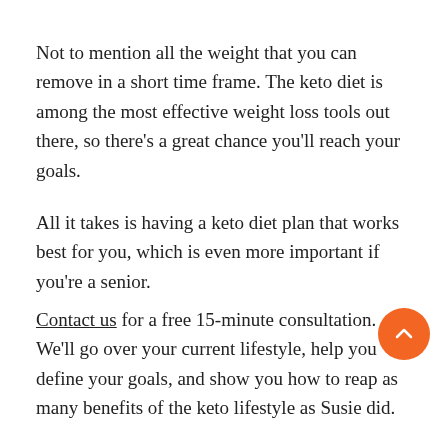Not to mention all the weight that you can remove in a short time frame. The keto diet is among the most effective weight loss tools out there, so there's a great chance you'll reach your goals.
All it takes is having a keto diet plan that works best for you, which is even more important if you're a senior.
Contact us for a free 15-minute consultation. We'll go over your current lifestyle, help you define your goals, and show you how to reap as many benefits of the keto lifestyle as Susie did.